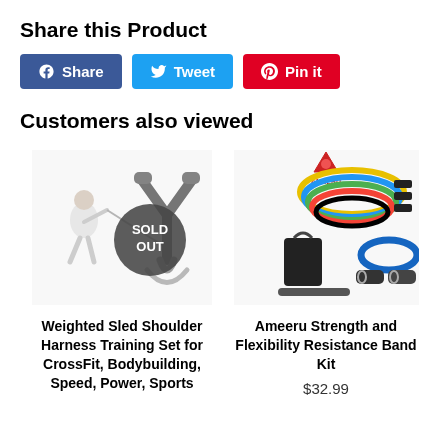Share this Product
Share | Tweet | Pin it
Customers also viewed
[Figure (photo): Weighted Sled Shoulder Harness Training Set product image with SOLD OUT badge overlay]
Weighted Sled Shoulder Harness Training Set for CrossFit, Bodybuilding, Speed, Power, Sports
[Figure (photo): Ameeru Strength and Flexibility Resistance Band Kit product image showing colorful resistance bands, handles, bag and accessories with Ameeru logo]
Ameeru Strength and Flexibility Resistance Band Kit
$32.99